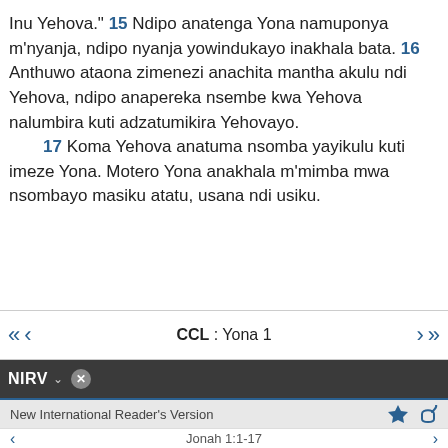Inu Yehova." 15 Ndipo anatenga Yona namuponya m'nyanja, ndipo nyanja yowindukayo inakhala bata. 16 Anthuwo ataona zimenezi anachita mantha akulu ndi Yehova, ndipo anapereka nsembe kwa Yehova nalumbira kuti adzatumikira Yehovayo. 17 Koma Yehova anatuma nsomba yayikulu kuti imeze Yona. Motero Yona anakhala m'mimba mwa nsombayo masiku atatu, usana ndi usiku.
CCL : Yona 1
NIRV
New International Reader's Version
Jonah 1:1-17